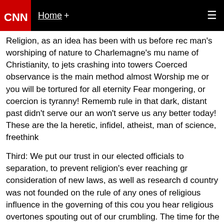CNN Home +
Religion, as an idea has been with us before rec man's worshiping of nature to Charlemagne's mu name of Christianity, to jets crashing into towers Coerced observance is the main method almost Worship me or you will be tortured for all eternity Fear mongering, or coercion is tyranny! Rememb rule in that dark, distant past didn't serve our an won't serve us any better today! These are the la heretic, infidel, atheist, man of science, freethink
Third: We put our trust in our elected officials to separation, to prevent religion's ever reaching gr consideration of new laws, as well as research d country was not founded on the rule of any ones of religious influence in the governing of this cou you hear religious overtones spouting out of our crumbling. The time for the burning of witches, b murdering of doctors, and crimes against women many other immoral and vile acts committed aga